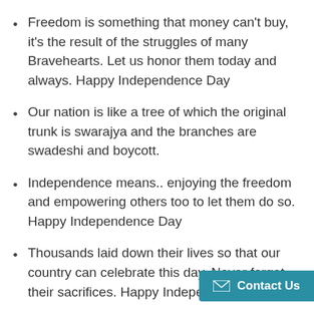Freedom is something that money can't buy, it's the result of the struggles of many Bravehearts. Let us honor them today and always. Happy Independence Day
Our nation is like a tree of which the original trunk is swarajya and the branches are swadeshi and boycott.
Independence means.. enjoying the freedom and empowering others too to let them do so. Happy Independence Day
Thousands laid down their lives so that our country can celebrate this day. Never forget their sacrifices. Happy Independence Day
This Independence Day, let's take a pledge to protect the peace and unity of our great n... Independence Day